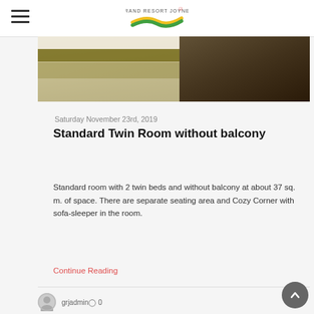Grand Resort Joiner [logo]
[Figure (photo): Hotel room photo showing twin beds with gold/olive striped bedding and wooden floor]
Saturday November 23rd, 2019
Standard Twin Room without balcony
Standard room with 2 twin beds and without balcony at about 37 sq. m. of space. There are separate seating area and Cozy Corner with sofa-sleeper in the room.
Continue Reading
grjadmin 0